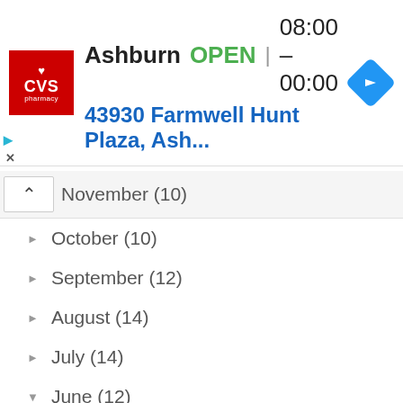[Figure (screenshot): CVS Pharmacy advertisement banner showing location in Ashburn, OPEN 08:00-00:00, address 43930 Farmwell Hunt Plaza, Ash...]
November (10)
October (10)
September (12)
August (14)
July (14)
June (12)
Honey Roasted Plums with Thyme and Olive Oil
It's Friday, Laugh A Little!
Zoodles Aglio Olio e Peperoncino
Eggplant Rollatini
Chopped BLT Salad
Easy Baked Parmesan Zucchini